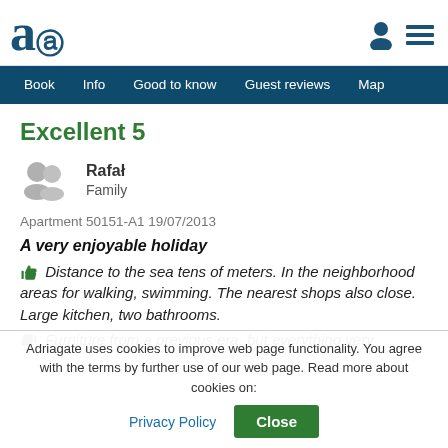Adriagate - navigation header with logo and menu
Excellent 5
Rafał
Family
Apartment 50151-A1 19/07/2013
A very enjoyable holiday
Distance to the sea tens of meters. In the neighborhood areas for walking, swimming. The nearest shops also close. Large kitchen, two bathrooms.
Furniture from a previous era, but everything very
Adriagate uses cookies to improve web page functionality. You agree with the terms by further use of our web page. Read more about cookies on: Privacy Policy | Close